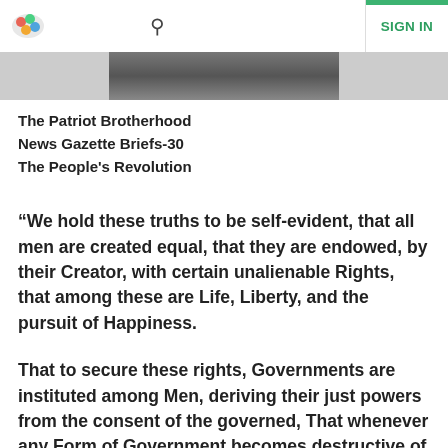The Patriot Brotherhood [logo] [search] SIGN IN
[Figure (photo): Partial image strip showing a photograph, cropped at top of content area]
The Patriot Brotherhood
News Gazette Briefs-30
The People's Revolution
“We hold these truths to be self-evident, that all men are created equal, that they are endowed, by their Creator, with certain unalienable Rights, that among these are Life, Liberty, and the pursuit of Happiness.
That to secure these rights, Governments are instituted among Men, deriving their just powers from the consent of the governed, That whenever any Form of Government becomes destructive of these ends, it is the Right of the People to alter or abolish it, and to institute new Government, laying its foundation on such principles, and